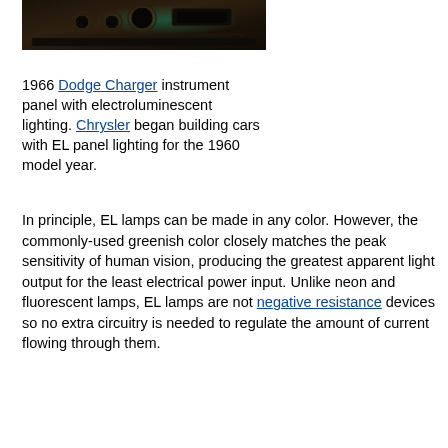[Figure (photo): 1966 Dodge Charger instrument panel with electroluminescent lighting — dark interior dashboard photo]
1966 Dodge Charger instrument panel with electroluminescent lighting. Chrysler began building cars with EL panel lighting for the 1960 model year.
In principle, EL lamps can be made in any color. However, the commonly-used greenish color closely matches the peak sensitivity of human vision, producing the greatest apparent light output for the least electrical power input. Unlike neon and fluorescent lamps, EL lamps are not negative resistance devices so no extra circuitry is needed to regulate the amount of current flowing through them.